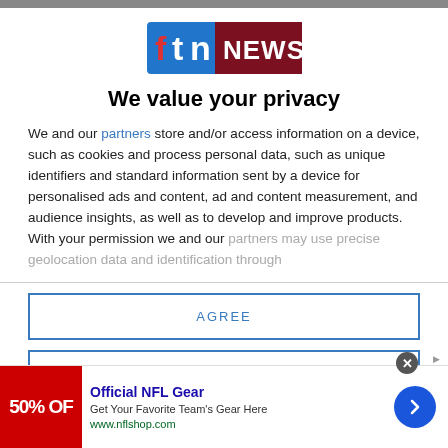[Figure (logo): ftn NEWS logo — blue square with 'ftn' in red and white letters, followed by 'NEWS' in white on dark red/maroon background]
We value your privacy
We and our partners store and/or access information on a device, such as cookies and process personal data, such as unique identifiers and standard information sent by a device for personalised ads and content, ad and content measurement, and audience insights, as well as to develop and improve products. With your permission we and our partners may use precise geolocation data and identification through
AGREE
MORE OPTIONS
[Figure (infographic): Advertisement banner: Official NFL Gear — Get Your Favorite Team's Gear Here, www.nflshop.com, with red sale image showing '50% OF' text and a blue arrow button]